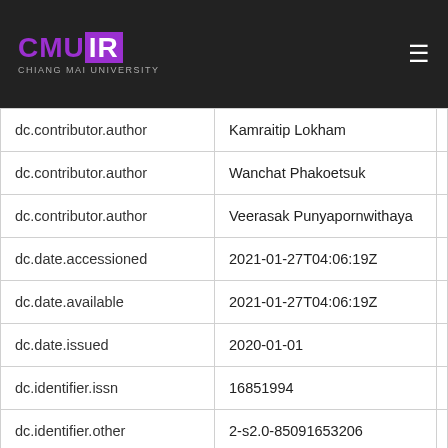CMU IR - Chiang Mai University Institutional Repository
| Field | Value |
| --- | --- |
| dc.contributor.author | Kamraitip Lokham |
| dc.contributor.author | Wanchat Phakoetsuk |
| dc.contributor.author | Veerasak Punyapornwithaya |
| dc.date.accessioned | 2021-01-27T04:06:19Z |
| dc.date.available | 2021-01-27T04:06:19Z |
| dc.date.issued | 2020-01-01 |
| dc.identifier.issn | 16851994 |
| dc.identifier.other | 2-s2.0-85091653206 |
| dc.identifier.other | 10.12982/CMUJNS.2020.0047 |
| dc.identifier.uri | https://www.scopus.com/inward/record.uri?partnerID=HzOxMe3b&scp=85091653206 |
| dc.identifier.uri | https://... |